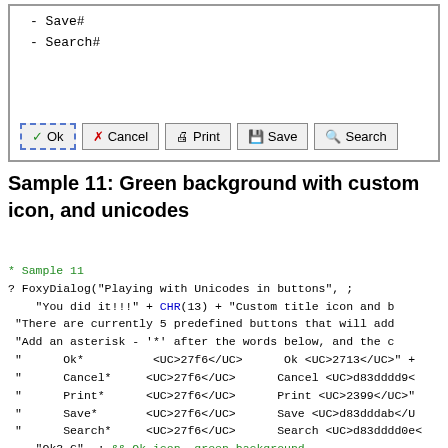[Figure (screenshot): Dialog box screenshot showing a list with Save# and Search# items, and buttons: Ok, Cancel, Print, Save, Search]
Sample 11: Green background with custom icon, and unicodes
* Sample 11
? FoxyDialog("Playing with Unicodes in buttons", ;
    "You did it!!!" + CHR(13) + "Custom title icon and b
 "There are currently 5 predefined buttons that will add
 "Add an asterisk - '*' after the words below, and the c
 "      Ok*          <UC>27f6</UC>      Ok <UC>2713</UC>" +
 "      Cancel*      <UC>27f6</UC>      Cancel <UC>d83dddd9<
 "      Print*       <UC>27f6</UC>      Print <UC>2399</UC>"
 "      Save*        <UC>27f6</UC>      Save <UC>d83ddddab</U
 "      Search*      <UC>27f6</UC>      Search <UC>d83dddd0e<
    "Ok3,G", ; && Ok icon, green background
    "Ok*,Cancel*,Print*,Save*,Search*")  && Button capti